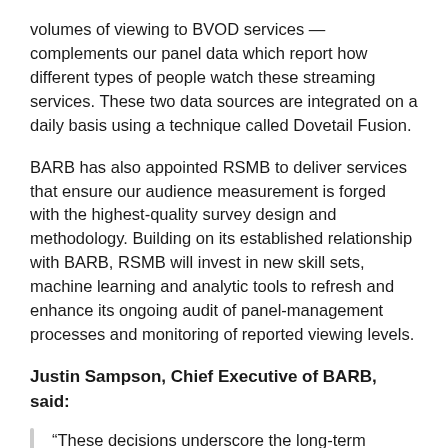volumes of viewing to BVOD services — complements our panel data which report how different types of people watch these streaming services. These two data sources are integrated on a daily basis using a technique called Dovetail Fusion.
BARB has also appointed RSMB to deliver services that ensure our audience measurement is forged with the highest-quality survey design and methodology. Building on its established relationship with BARB, RSMB will invest in new skill sets, machine learning and analytic tools to refresh and enhance its ongoing audit of panel-management processes and monitoring of reported viewing levels.
Justin Sampson, Chief Executive of BARB, said:
“These decisions underscore the long-term commitment of the UK television and advertising industry to independent, objective and transparent audience measurement. Staying true to the objective of the tender